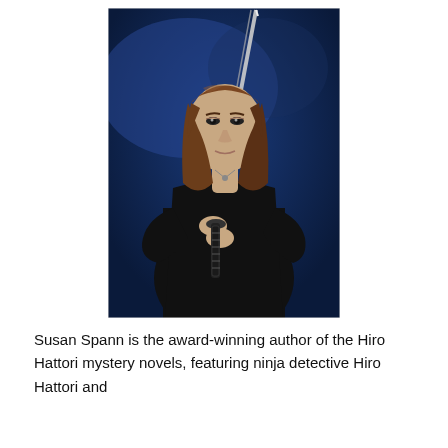[Figure (photo): A woman with shoulder-length brown hair wearing a black outfit, holding a samurai sword diagonally across her body. She stands against a dark blue background.]
Susan Spann is the award-winning author of the Hiro Hattori mystery novels, featuring ninja detective Hiro Hattori and